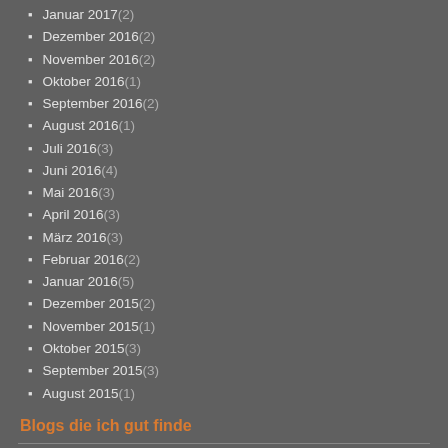Januar 2017 (2)
Dezember 2016 (2)
November 2016 (2)
Oktober 2016 (1)
September 2016 (2)
August 2016 (1)
Juli 2016 (3)
Juni 2016 (4)
Mai 2016 (3)
April 2016 (3)
März 2016 (3)
Februar 2016 (2)
Januar 2016 (5)
Dezember 2015 (2)
November 2015 (1)
Oktober 2015 (3)
September 2015 (3)
August 2015 (1)
Blogs die ich gut finde
s-w-photography
Tina wird intuitiv
Törtchen - Made in Berlin
Manuela Mordhorst